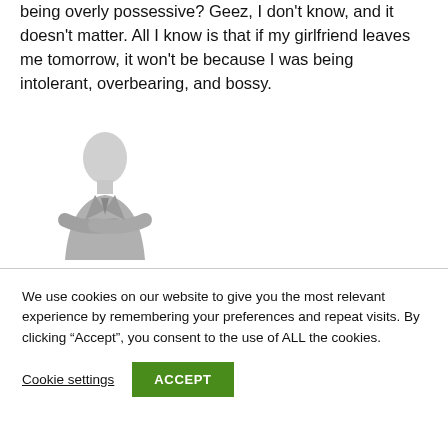being overly possessive? Geez, I don't know, and it doesn't matter. All I know is that if my girlfriend leaves me tomorrow, it won't be because I was being intolerant, overbearing, and bossy.
[Figure (illustration): A grayscale illustration of a man in a suit with arms crossed]
We use cookies on our website to give you the most relevant experience by remembering your preferences and repeat visits. By clicking “Accept”, you consent to the use of ALL the cookies.
Cookie settings   ACCEPT